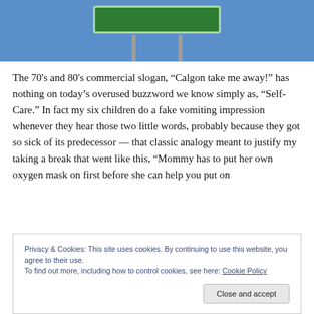[Figure (photo): Partial view of a green road sign with metal poles against a blue sky background, cropped at the top of the page.]
The 70's and 80's commercial slogan, “Calgon take me away!” has nothing on today’s overused buzzword we know simply as, “Self-Care.” In fact my six children do a fake vomiting impression whenever they hear those two little words, probably because they got so sick of its predecessor — that classic analogy meant to justify my taking a break that went like this, “Mommy has to put her own oxygen mask on first before she can help you put on
Privacy & Cookies: This site uses cookies. By continuing to use this website, you agree to their use.
To find out more, including how to control cookies, see here: Cookie Policy
Close and accept